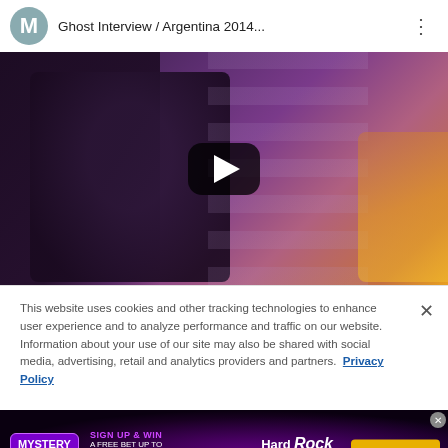[Figure (screenshot): YouTube video thumbnail showing 'Ghost Interview / Argentina 2014...' with a hooded dark figure in a dramatic purple-toned scene, with a play button overlay and channel avatar 'M']
This website uses cookies and other tracking technologies to enhance user experience and to analyze performance and traffic on our website. Information about your use of our site may also be shared with social media, advertising, retail and analytics providers and partners. Privacy Policy
[Figure (screenshot): Hard Rock Sportsbook advertisement banner: Mystery Wheel - Sign Up & Win A Free Bet Up To $5,000 - Download Now]